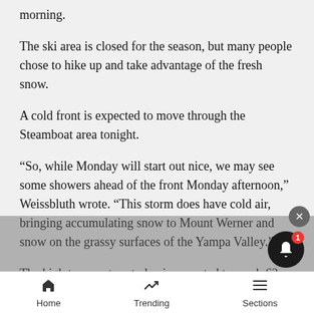morning.
The ski area is closed for the season, but many people chose to hike up and take advantage of the fresh snow.
A cold front is expected to move through the Steamboat area tonight.
“So, while Monday will start out nice, we may see some showers ahead of the front Monday afternoon,” Weissbluth wrote. “This storm does have cold air, bringing accumulating snow to Mount Werner and snow on the grassy surfaces of the Yampa Valley.”
The high temperature today is expected to reach 62 degrees, and the cold front is forecast to bring a high temperature of 50 degrees Tuesday, according to the
Home   Trending   Sections